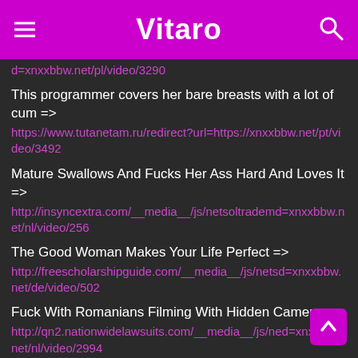Vitaro
d=xnxxbbw.net/pl/video/3290
This programmer covers her bare breasts with a lot of cum => https://www.tutanetam.ru/redirect?url=https://xnxxbbw.net/pt/video/3492
Mature Swallows And Fucks Her Ass Hard And Loves It => http://insyncextra.com/__media__/js/netsoltradema d=xnxxbbw.net/nl/video/256
The Good Woman Makes Your Life Perfect => http://freescholarshipguide.com/__media__/js/nets d=xnxxbbw.net/de/video/502
Fuck With Romanians Filming With Hidden Camera => http://qn2.nationwidelawsuits.com/__media__/js/ne d=xnxxbbw.net/nl/video/2994